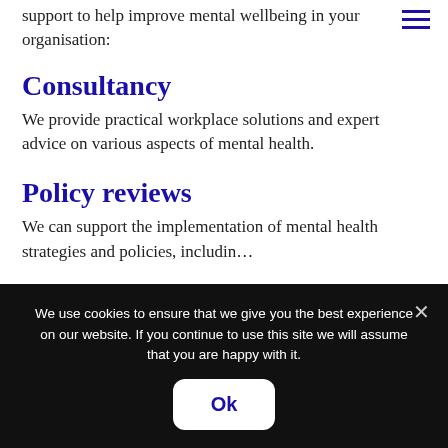support to help improve mental wellbeing in your organisation:
Consultancy
We provide practical workplace solutions and expert advice on various aspects of mental health.
Policy reviews
We can support the implementation of mental health strategies and policies, including
We use cookies to ensure that we give you the best experience on our website. If you continue to use this site we will assume that you are happy with it.